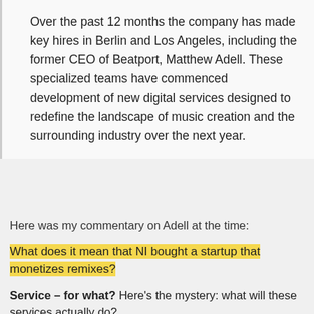Over the past 12 months the company has made key hires in Berlin and Los Angeles, including the former CEO of Beatport, Matthew Adell. These specialized teams have commenced development of new digital services designed to redefine the landscape of music creation and the surrounding industry over the next year.
Here was my commentary on Adell at the time:
What does it mean that NI bought a startup that monetizes remixes?
Service – for what? Here's the mystery: what will these services actually do?